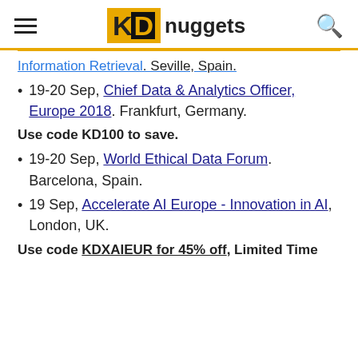KDnuggets
Information Retrieval. Seville, Spain.
19-20 Sep, Chief Data & Analytics Officer, Europe 2018. Frankfurt, Germany.
Use code KD100 to save.
19-20 Sep, World Ethical Data Forum. Barcelona, Spain.
19 Sep, Accelerate AI Europe - Innovation in AI, London, UK.
Use code KDXAIEUR for 45% off, Limited Time